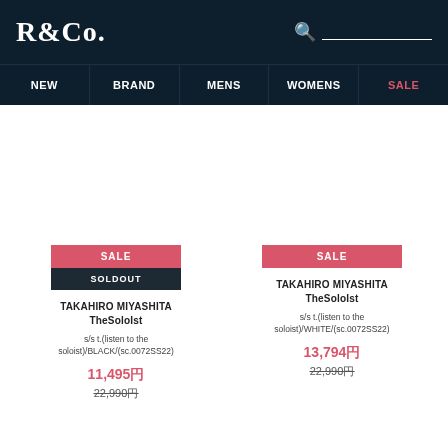R&Co.
NEW | BRAND | MENS | WOMENS | SALE
SALE
SOLDOUT
TAKAHIRO MIYASHITA TheSoloIst
s/s t.(listen to the soloist)/BLACK/(sc.0072SS22)
11,495円
22,990円
SALE
TAKAHIRO MIYASHITA TheSoloIst
s/s t.(listen to the soloist)/WHITE/(sc.0072SS22)
13,794円
22,990円